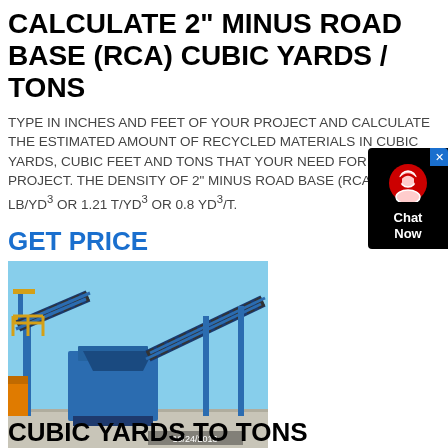CALCULATE 2" MINUS ROAD BASE (RCA) CUBIC YARDS / TONS
TYPE IN INCHES AND FEET OF YOUR PROJECT AND CALCULATE THE ESTIMATED AMOUNT OF RECYCLED MATERIALS IN CUBIC YARDS, CUBIC FEET AND TONS THAT YOUR NEED FOR YOUR PROJECT. THE DENSITY OF 2" MINUS ROAD BASE (RCA): 2,410 LB/YD³ OR 1.21 T/YD³ OR 0.8 YD³/T.
GET PRICE
[Figure (photo): Industrial blue crushing/screening plant machinery with conveyor belts on a concrete pad, dated 10/24/2013]
CUBIC YARDS TO TONS